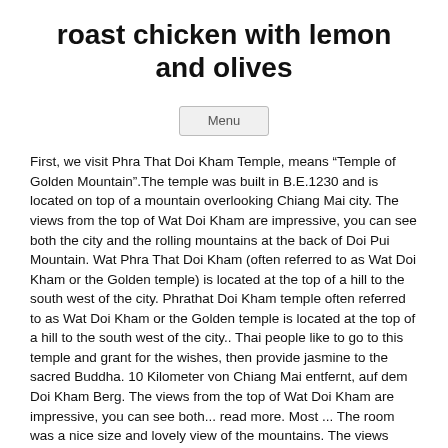roast chicken with lemon and olives
Menu
First, we visit Phra That Doi Kham Temple, means “Temple of Golden Mountain”.The temple was built in B.E.1230 and is located on top of a mountain overlooking Chiang Mai city. The views from the top of Wat Doi Kham are impressive, you can see both the city and the rolling mountains at the back of Doi Pui Mountain. Wat Phra That Doi Kham (often referred to as Wat Doi Kham or the Golden temple) is located at the top of a hill to the south west of the city. Phrathat Doi Kham temple often referred to as Wat Doi Kham or the Golden temple is located at the top of a hill to the south west of the city.. Thai people like to go to this temple and grant for the wishes, then provide jasmine to the sacred Buddha. 10 Kilometer von Chiang Mai entfernt, auf dem Doi Kham Berg. The views from the top of Wat Doi Kham are impressive, you can see both... read more. Most ... The room was a nice size and lovely view of the mountains. The views from the top of Wat Doi Kham are impressive, you can see both the city and the rolling mountains at the back of Doi Pui Mountain. Wat Phrathat Doi Kham is a very special retreat place. The Wat Phra That Doi Kham temple is located on top of a mountain South...